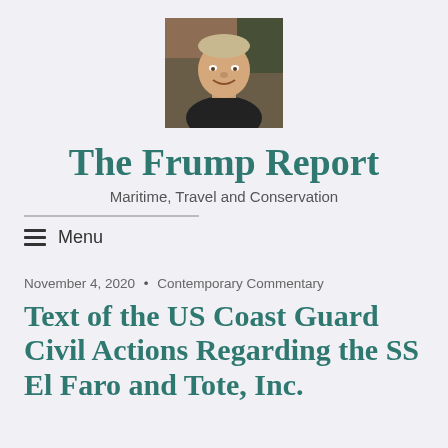[Figure (photo): Headshot photo of a middle-aged man smiling, wearing a dark turtleneck, with a blurred indoor background.]
The Frump Report
Maritime, Travel and Conservation
Menu
November 4, 2020 • Contemporary Commentary
Text of the US Coast Guard Civil Actions Regarding the SS El Faro and Tote, Inc.